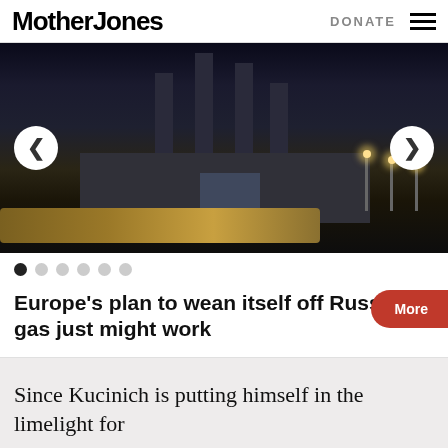MotherJones
[Figure (photo): Night photograph of an industrial gas facility with tall chimneys, pipes, and buildings lit by streetlights against a dark sky. Left and right navigation arrows are overlaid on the image.]
Europe's plan to wean itself off Russian gas just might work
Since Kucinich is putting himself in the limelight for